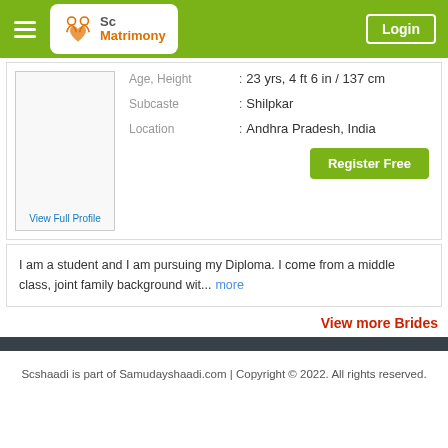Sc Matrimony — Login
Age, Height : 23 yrs, 4 ft 6 in / 137 cm
Subcaste : Shilpkar
Location : Andhra Pradesh, India
View Full Profile
Register Free
I am a student and I am pursuing my Diploma. I come from a middle class, joint family background wit... more
View more Brides
Scshaadi is part of Samudayshaadi.com | Copyright © 2022. All rights reserved.